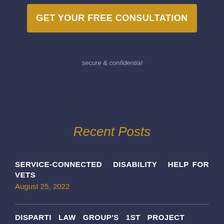GET YOUR FREE CONSULTATION
secure & confidential
Recent Posts
SERVICE-CONNECTED DISABILITY HELP FOR VETS
August 25, 2022
DISPARTI LAW GROUP'S 1ST PROJECT